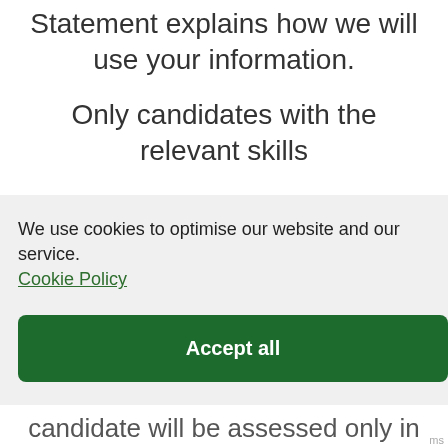Statement explains how we will use your information.
Only candidates with the relevant skills
We use cookies to optimise our website and our service. Cookie Policy
Accept all
Functional only
View preferences
candidate will be assessed only in